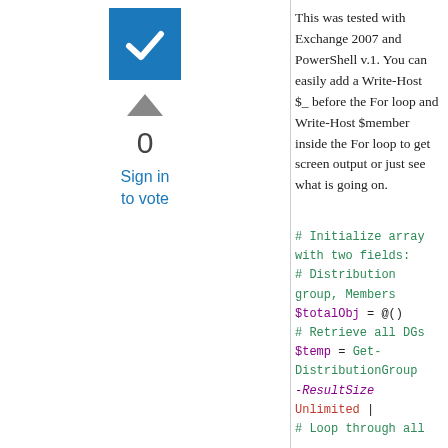[Figure (other): Blue checkbox icon with white checkmark]
0
Sign in to vote
This was tested with Exchange 2007 and PowerShell v.1. You can easily add a Write-Host $_ before the For loop and Write-Host $member inside the For loop to get screen output or just see what is going on.
# Initialize array with two fields:
# Distribution group, Members
$totalObj = @()
# Retrieve all DGs
$temp = Get-DistributionGroup -ResultSize Unlimited |
# Loop through all